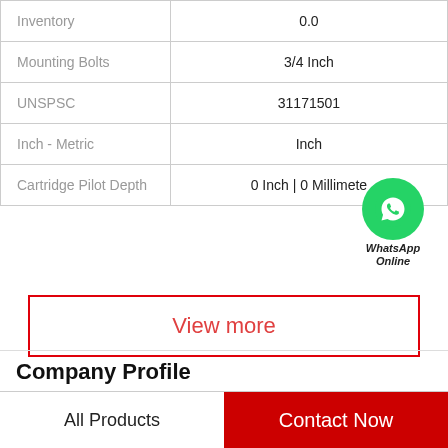| Property | Value |
| --- | --- |
| Inventory | 0.0 |
| Mounting Bolts | 3/4 Inch |
| UNSPSC | 31171501 |
| Inch - Metric | Inch |
| Cartridge Pilot Depth | 0 Inch | 0 Millimeter |
View more
Company Profile
China Kubota Hydraulic Final Drive Motor Supplier
All Products | Contact Now